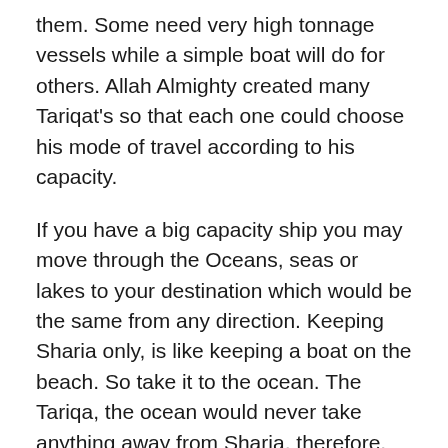them. Some need very high tonnage vessels while a simple boat will do for others. Allah Almighty created many Tariqat's so that each one could choose his mode of travel according to his capacity.
If you have a big capacity ship you may move through the Oceans, seas or lakes to your destination which would be the same from any direction. Keeping Sharia only, is like keeping a boat on the beach. So take it to the ocean. The Tariqa, the ocean would never take anything away from Sharia, therefore, you should bring the whole of Sharia into Tariqa and taking anything away makes you an imperfect Tariqa follower. It is not acceptable to Tariqa. Tariqa demands a perfect following of the Sharia as leaving anything out would be like making a hole in your vessel, and that hole is enough to drown you.
Therefore, Tariqa people try to keep more firmly to the